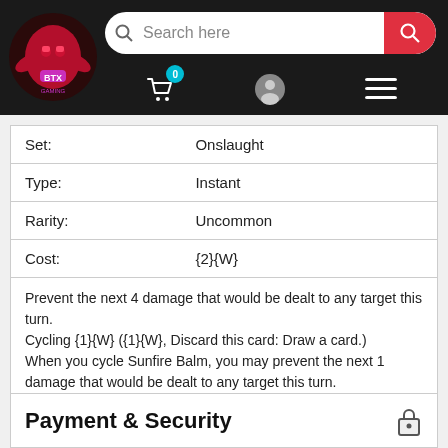[Figure (screenshot): E-commerce website header with dark background, gaming store logo on left, search bar in center-right, and navigation icons (cart with badge 0, user icon, hamburger menu)]
| Set: | Onslaught |
| Type: | Instant |
| Rarity: | Uncommon |
| Cost: | {2}{W} |
Prevent the next 4 damage that would be dealt to any target this turn.
Cycling {1}{W} ({1}{W}, Discard this card: Draw a card.)
When you cycle Sunfire Balm, you may prevent the next 1 damage that would be dealt to any target this turn.
Payment & Security